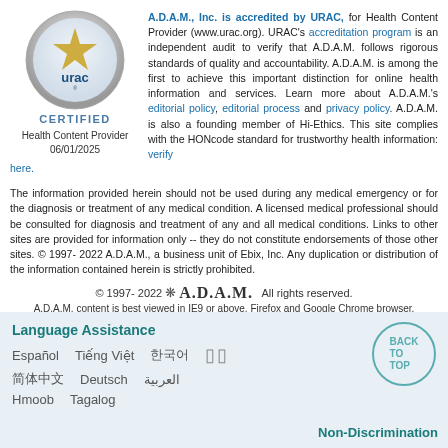[Figure (logo): URAC certified logo — circular silver badge with gold star and 'urac' text, labeled CERTIFIED below]
Health Content Provider
06/01/2025
A.D.A.M., Inc. is accredited by URAC, for Health Content Provider (www.urac.org). URAC's accreditation program is an independent audit to verify that A.D.A.M. follows rigorous standards of quality and accountability. A.D.A.M. is among the first to achieve this important distinction for online health information and services. Learn more about A.D.A.M.'s editorial policy, editorial process and privacy policy. A.D.A.M. is also a founding member of Hi-Ethics. This site complies with the HONcode standard for trustworthy health information: verify here.
The information provided herein should not be used during any medical emergency or for the diagnosis or treatment of any medical condition. A licensed medical professional should be consulted for diagnosis and treatment of any and all medical conditions. Links to other sites are provided for information only -- they do not constitute endorsements of those other sites. © 1997- 2022 A.D.A.M., a business unit of Ebix, Inc. Any duplication or distribution of the information contained herein is strictly prohibited.
© 1997- 2022 A.D.A.M. All rights reserved.
A.D.A.M. content is best viewed in IE9 or above, Firefox and Google Chrome browser.
Language Assistance
Español   Tiếng Việt   한국어   日本語
简体中文   Deutsch   العربية
Hmoob   Tagalog
Non-Discrimination